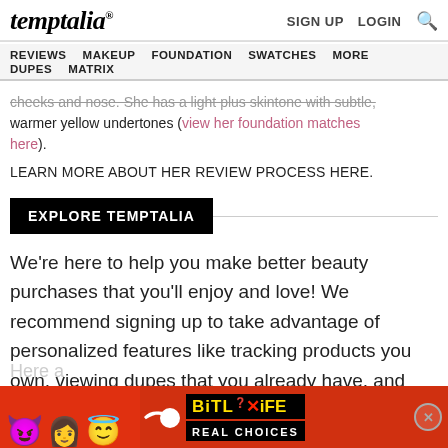temptalia® | SIGN UP  LOGIN  🔍
REVIEWS  MAKEUP  FOUNDATION  SWATCHES  MORE  DUPES  MATRIX
cheeks and nose. She has a light plus skintone with subtle, warmer yellow undertones (view her foundation matches here).
LEARN MORE ABOUT HER REVIEW PROCESS HERE.
EXPLORE TEMPTALIA
We're here to help you make better beauty purchases that you'll enjoy and love! We recommend signing up to take advantage of personalized features like tracking products you own, viewing dupes that you already have, and more!
Here a
[Figure (screenshot): BitLife advertisement banner with emojis (devil, woman, angel winking face) on a red background, showing 'BitLife Real Choices' text in yellow and white on black, with a close button]